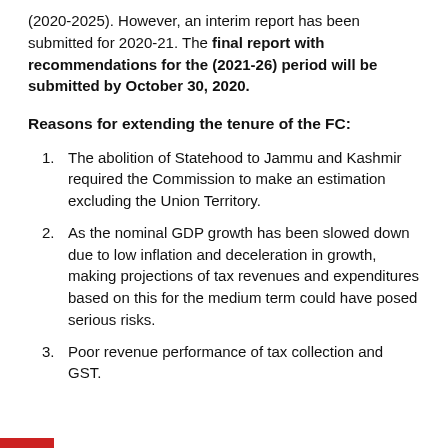(2020-2025). However, an interim report has been submitted for 2020-21. The final report with recommendations for the (2021-26) period will be submitted by October 30, 2020.
Reasons for extending the tenure of the FC:
The abolition of Statehood to Jammu and Kashmir required the Commission to make an estimation excluding the Union Territory.
As the nominal GDP growth has been slowed down due to low inflation and deceleration in growth, making projections of tax revenues and expenditures based on this for the medium term could have posed serious risks.
Poor revenue performance of tax collection and GST.